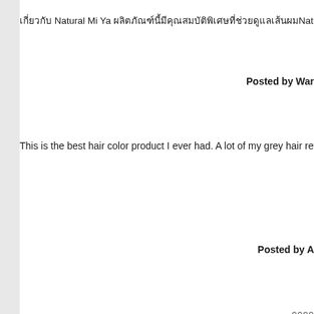เกี่ยวกับ Natural Mi Ya ผลิตภัณฑ์นี้มีคุณสมบัติพิเศษที่ช่วยดูแลเส้นผมNatur
Posted by War
This is the best hair color product I ever had. A lot of my grey hair returned back
Posted by A
กกกก
Posted b
The product is pretty good, very healthy, that is most importan
Posted
My friend told me about this product when he stumbled on it at an Asian superm smell and wouldn't last longer than a week. When I opened the packaged, I noti need to use the entire product on my hair, reusing any leftover portions would be c damp hair. After about 1
The product does leave a smell but it is more of a herbal smell rather than chem